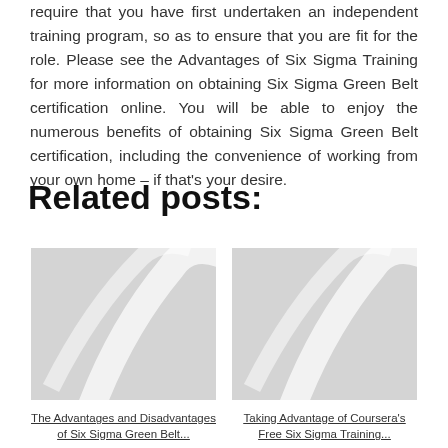require that you have first undertaken an independent training program, so as to ensure that you are fit for the role. Please see the Advantages of Six Sigma Training for more information on obtaining Six Sigma Green Belt certification online. You will be able to enjoy the numerous benefits of obtaining Six Sigma Green Belt certification, including the convenience of working from your own home – if that's your desire.
Related posts:
[Figure (illustration): Placeholder grey image with white swirl decoration for related post thumbnail]
The Advantages and Disadvantages of Six Sigma Green Belt...
[Figure (illustration): Placeholder grey image with white swirl decoration for related post thumbnail]
Taking Advantage of Coursera's Free Six Sigma Training...